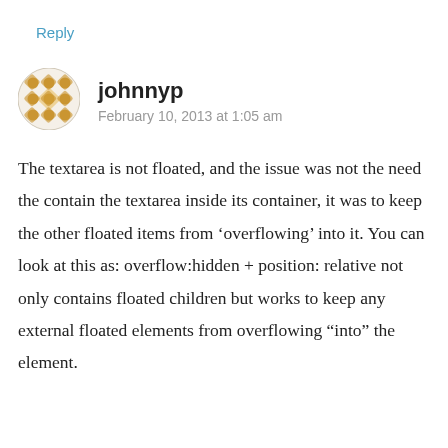Reply
[Figure (illustration): Decorative circular avatar icon with a gold/yellow geometric pattern on a white background]
johnnyp
February 10, 2013 at 1:05 am
The textarea is not floated, and the issue was not the need the contain the textarea inside its container, it was to keep the other floated items from ‘overflowing’ into it. You can look at this as: overflow:hidden + position: relative not only contains floated children but works to keep any external floated elements from overflowing “into” the element.